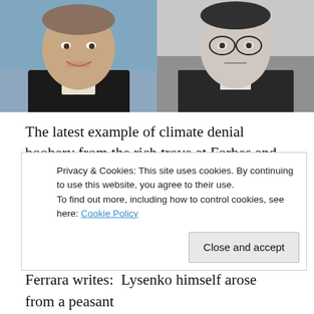[Figure (photo): Two side-by-side photos: left is a color photo of a middle-aged man in a suit smiling, right is a black-and-white photo of a serious-looking man with glasses.]
The latest example of climate denial boobery from the rich trove at Forbes and WattsUpWithThat, is Peter Ferrara’s new piece that compares climate science to Lysenkoism.
Trofim Lysenko, you’ll remember, was a Russian scientist in the Stalin era, whose theories of genetics were embraced as official government science because they
Privacy & Cookies: This site uses cookies. By continuing to use this website, you agree to their use.
To find out more, including how to control cookies, see here: Cookie Policy
Ferrara writes:  Lysenko himself arose from a peasant